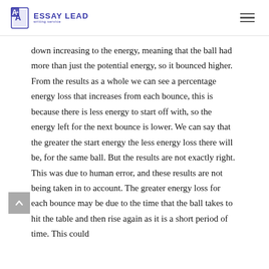ESSAY LEAD writing service
down increasing to the energy, meaning that the ball had more than just the potential energy, so it bounced higher. From the results as a whole we can see a percentage energy loss that increases from each bounce, this is because there is less energy to start off with, so the energy left for the next bounce is lower. We can say that the greater the start energy the less energy loss there will be, for the same ball. But the results are not exactly right. This was due to human error, and these results are not being taken in to account. The greater energy loss for each bounce may be due to the time that the ball takes to hit the table and then rise again as it is a short period of time. This could